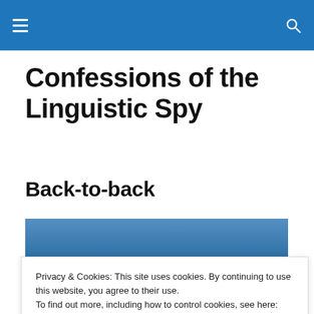Confessions of the Linguistic Spy — navigation header
Confessions of the Linguistic Spy
Back-to-back
[Figure (photo): Photograph showing a blue sky gradient at the top portion, partially visible below the cookie banner overlay]
Privacy & Cookies: This site uses cookies. By continuing to use this website, you agree to their use.
To find out more, including how to control cookies, see here: Cookie Policy
Close and accept